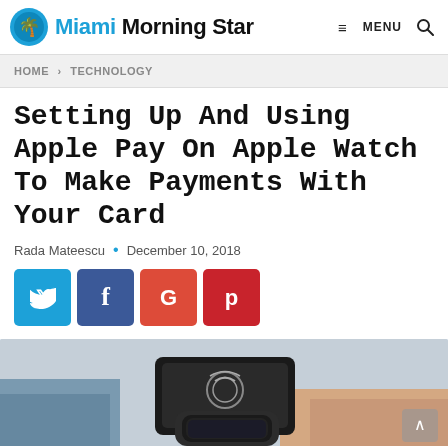Miami Morning Star — MENU [search]
HOME > TECHNOLOGY
Setting Up And Using Apple Pay On Apple Watch To Make Payments With Your Card
Rada Mateescu • December 10, 2018
[Figure (other): Social sharing buttons: Twitter (blue), Facebook (dark blue), Google (red-orange), Pinterest (red)]
[Figure (photo): Person using Apple Watch near a contactless NFC payment terminal reader]